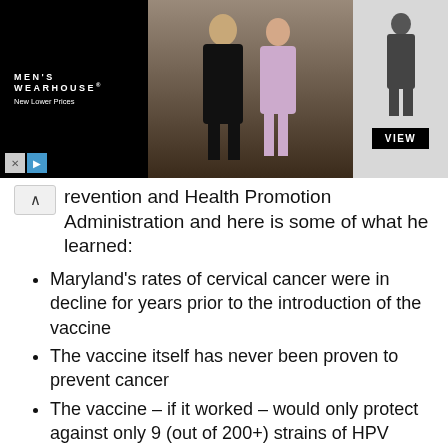[Figure (photo): Men's Wearhouse advertisement banner showing a couple in formal wear, a man in a suit on the right side, and a VIEW button. Ad controls with X and play buttons visible at bottom left.]
revention and Health Promotion Administration and here is some of what he learned:
Maryland's rates of cervical cancer were in decline for years prior to the introduction of the vaccine
The vaccine itself has never been proven to prevent cancer
The vaccine – if it worked – would only protect against only 9 (out of 200+) strains of HPV
Cervical cancer incidence in Maryland is up